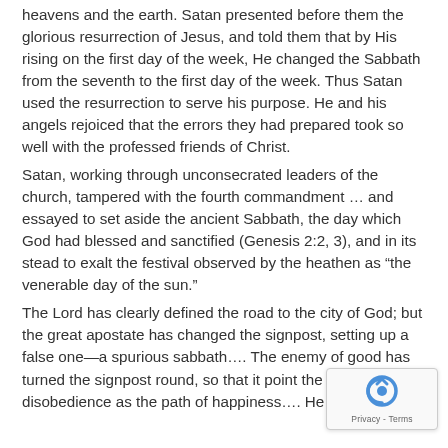heavens and the earth. Satan presented before them the glorious resurrection of Jesus, and told them that by His rising on the first day of the week, He changed the Sabbath from the seventh to the first day of the week. Thus Satan used the resurrection to serve his purpose. He and his angels rejoiced that the errors they had prepared took so well with the professed friends of Christ.
Satan, working through unconsecrated leaders of the church, tampered with the fourth commandment … and essayed to set aside the ancient Sabbath, the day which God had blessed and sanctified (Genesis 2:2, 3), and in its stead to exalt the festival observed by the heathen as “the venerable day of the sun.”
The Lord has clearly defined the road to the city of God; but the great apostate has changed the signpost, setting up a false one—a spurious sabbath…. The enemy of good has turned the signpost round, so that it point the path of disobedience as the path of happiness…. He